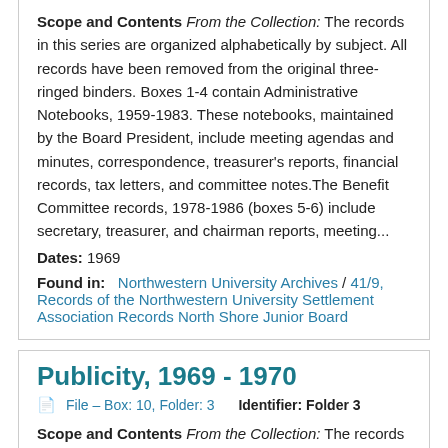Scope and Contents From the Collection: The records in this series are organized alphabetically by subject. All records have been removed from the original three-ringed binders. Boxes 1-4 contain Administrative Notebooks, 1959-1983. These notebooks, maintained by the Board President, include meeting agendas and minutes, correspondence, treasurer's reports, financial records, tax letters, and committee notes.The Benefit Committee records, 1978-1986 (boxes 5-6) include secretary, treasurer, and chairman reports, meeting...
Dates: 1969
Found in: Northwestern University Archives / 41/9, Records of the Northwestern University Settlement Association Records North Shore Junior Board
Publicity, 1969 - 1970
File – Box: 10, Folder: 3   Identifier: Folder 3
Scope and Contents From the Collection: The records in this series are organized alphabetically by subject. All records have been removed from the original three-ringed binders. Boxes 1-4 contain Administrative Notebooks, 1959-1983. These notebooks, maintained by the Board President, include meeting agendas and minutes,